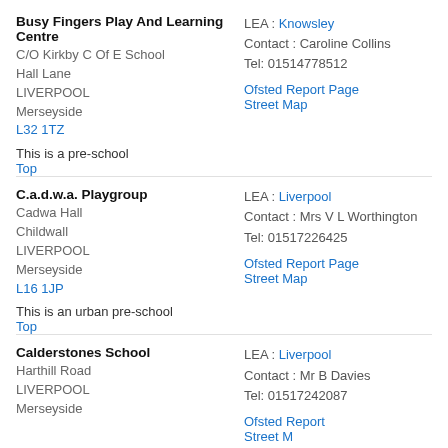Busy Fingers Play And Learning Centre
C/O Kirkby C Of E School
Hall Lane
LIVERPOOL
Merseyside
L32 1TZ
This is a pre-school
Top | LEA: Knowsley | Contact: Caroline Collins | Tel: 01514778512 | Ofsted Report Page | Street Map
C.a.d.w.a. Playgroup
Cadwa Hall
Childwall
LIVERPOOL
Merseyside
L16 1JP
This is an urban pre-school
Top | LEA: Liverpool | Contact: Mrs V L Worthington | Tel: 01517226425 | Ofsted Report Page | Street Map
Calderstones School
Harthill Road
LIVERPOOL
Merseyside
L18 6HP (partial) | LEA: Liverpool | Contact: Mr B Davies | Tel: 01517242087 | Ofsted Report | Street Map